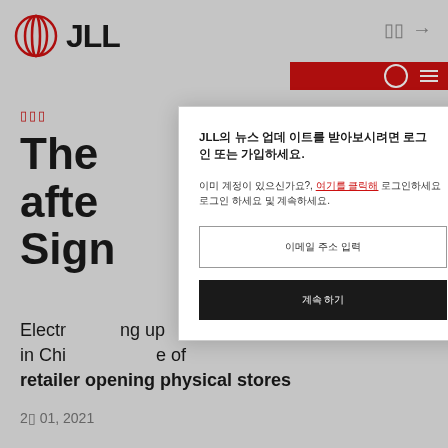JLL [logo]
[category label in CJK]
The [...]lls after Sign[...]na
Electr[...] ng up in Chi[...] e of retailer opening physical stores
2[?] 01, 2021
JLL의 뉴스 업데 이트를 받아보시려면 로그인 또는 가입하세요.
이미 계정이 있으신가요? 여기를 클릭해 로그인하세요.
이메일 주소 입력
계속 하기